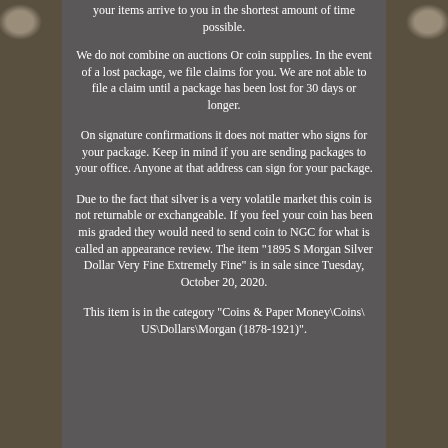your items arrive to you in the shortest amount of time possible.
We do not combine on auctions Or coin supplies. In the event of a lost package, we file claims for you. We are not able to file a claim until a package has been lost for 30 days or longer.
On signature confirmations it does not matter who signs for your package. Keep in mind if you are sending packages to your office. Anyone at that address can sign for your package.
Due to the fact that silver is a very volatile market this coin is not returnable or exchangeable. If you feel your coin has been mis graded they would need to send coin to NGC for what is called an appearance review. The item "1895 S Morgan Silver Dollar Very Fine Extremely Fine" is in sale since Tuesday, October 20, 2020.
This item is in the category "Coins & Paper Money\Coins\ US\Dollars\Morgan (1878-1921)".